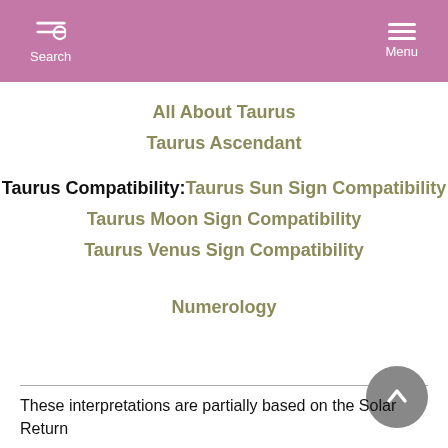Search  Menu
All About Taurus
Taurus Ascendant
Taurus Compatibility: Taurus Sun Sign Compatibility
Taurus Moon Sign Compatibility
Taurus Venus Sign Compatibility
Numerology
These interpretations are partially based on the Solar Return